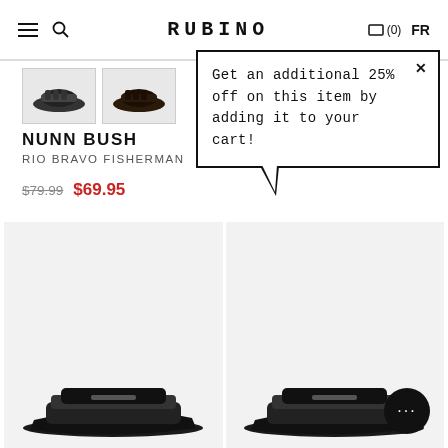RUBINO — (0) FR
[Figure (photo): Two thumbnail images of Nunn Bush Rio Bravo Fisherman sandal in dark brown/black]
NUNN BUSH
RIO BRAVO FISHERMAN
$79.99  $69.95
Get an additional 25% off on this item by adding it to your cart!
[Figure (photo): Black slide sandal on left product card]
[Figure (photo): Black slide sandal on right product card]